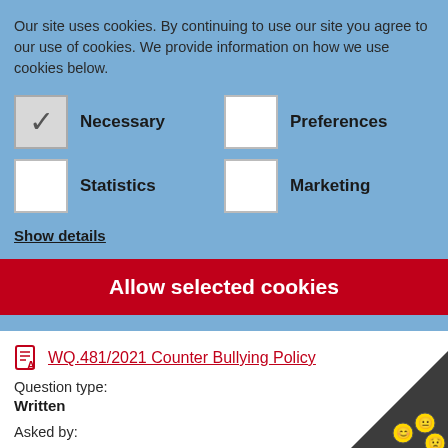Our site uses cookies. By continuing to use our site you agree to our use of cookies. We provide information on how we use cookies below.
Necessary (checked)
Preferences (unchecked)
Statistics (unchecked)
Marketing (unchecked)
Show details
Allow selected cookies
WQ.481/2021 Counter Bullying Policy
Question type:
Written
Asked by: